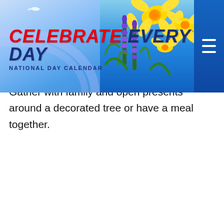[Figure (illustration): Website header banner for 'Celebrate Every Day - National Day Calendar' with a blue sky background, yellow daffodils and purple grape hyacinths flowers on the right, a hamburger menu icon on the far right, and the site logo text on the left.]
HOW TO OBSERVE #Christmas
Most Christmas traditions are celebrated in the days leading up to Christmas. In the morning, see what Santa has delivered. Gather with family and open presents around a decorated tree or have a meal together.